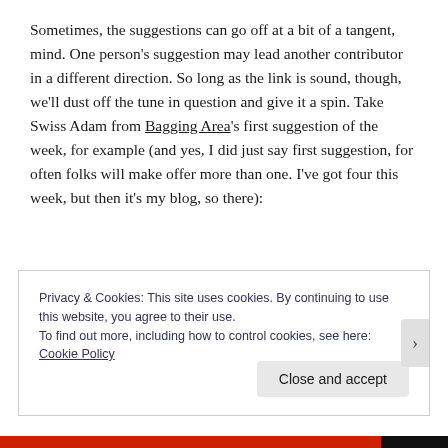Sometimes, the suggestions can go off at a bit of a tangent, mind. One person's suggestion may lead another contributor in a different direction. So long as the link is sound, though, we'll dust off the tune in question and give it a spin. Take Swiss Adam from Bagging Area's first suggestion of the week, for example (and yes, I did just say first suggestion, for often folks will make offer more than one. I've got four this week, but then it's my blog, so there):
Privacy & Cookies: This site uses cookies. By continuing to use this website, you agree to their use.
To find out more, including how to control cookies, see here: Cookie Policy